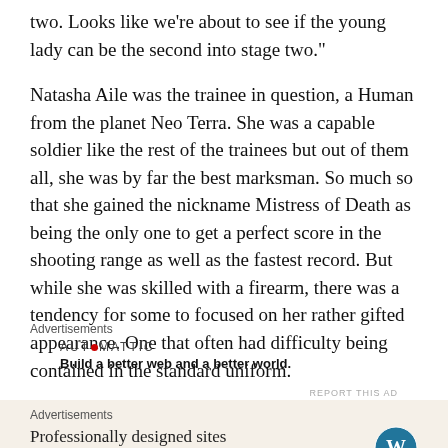two. Looks like we're about to see if the young lady can be the second into stage two."
Natasha Aile was the trainee in question, a Human from the planet Neo Terra. She was a capable soldier like the rest of the trainees but out of them all, she was by far the best marksman. So much so that she gained the nickname Mistress of Death as being the only one to get a perfect score in the shooting range as well as the fastest record. But while she was skilled with a firearm, there was a tendency for some to focused on her rather gifted appearance. One that often had difficulty being contained in the standard uniform.
Advertisements
[Figure (other): Automattic advertisement: logo text AUTOMATTIC with red dot, tagline 'Build a better web and a better world.']
Advertisements
[Figure (other): WordPress advertisement on tan background: 'Professionally designed sites in less than a week' with WordPress logo]